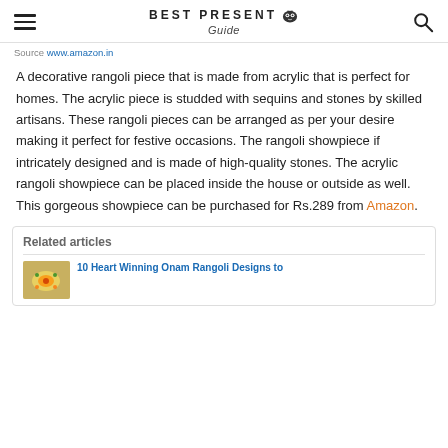BEST PRESENT Guide
Source www.amazon.in
A decorative rangoli piece that is made from acrylic that is perfect for homes. The acrylic piece is studded with sequins and stones by skilled artisans. These rangoli pieces can be arranged as per your desire making it perfect for festive occasions. The rangoli showpiece if intricately designed and is made of high-quality stones. The acrylic rangoli showpiece can be placed inside the house or outside as well. This gorgeous showpiece can be purchased for Rs.289 from Amazon.
Related articles
10 Heart Winning Onam Rangoli Designs to